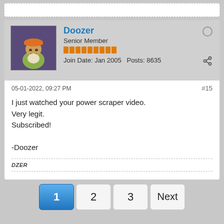[Figure (screenshot): Forum post header showing user avatar (toy figure with orange hat), username Doozer in blue, Senior Member rank, orange reputation bars, Join Date Jan 2005, Posts 8635, offline status dot, share icon]
05-01-2022, 09:27 PM
#15
I just watched your power scraper video.
Very legit.
Subscribed!

-Doozer
DZER
1  2  3  Next